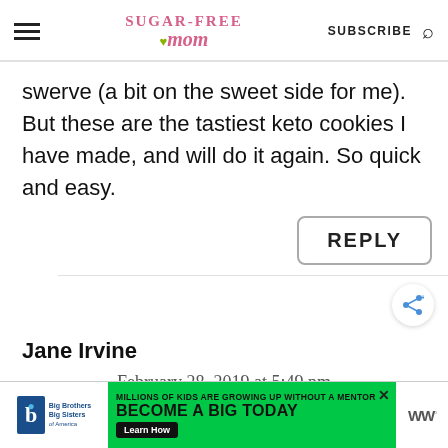Sugar-Free Mom | SUBSCRIBE
swerve (a bit on the sweet side for me). But these are the tastiest keto cookies I have made, and will do it again. So quick and easy.
REPLY
Jane Irvine
February 28, 2019 at 5:49 pm
[Figure (infographic): Big Brothers Big Sisters ad banner: 'Millions of kids are growing up without a mentor. Become a Big Today.' with Learn How button and WW logo on right.]